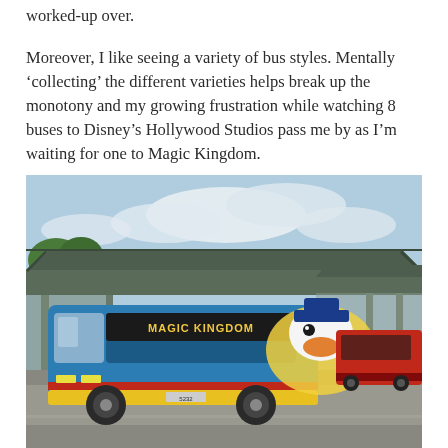worked-up over.
Moreover, I like seeing a variety of bus styles. Mentally 'collecting' the different varieties helps break up the monotony and my growing frustration while watching 8 buses to Disney's Hollywood Studios pass me by as I'm waiting for one to Magic Kingdom.
[Figure (photo): A blue Disney World bus with 'MAGIC KINGDOM' destination sign and Donald Duck artwork on the side, parked at a bus stop with a distinctive pagoda-style green roof structure. A red bus is visible in the background on the right. Cloudy sky above.]